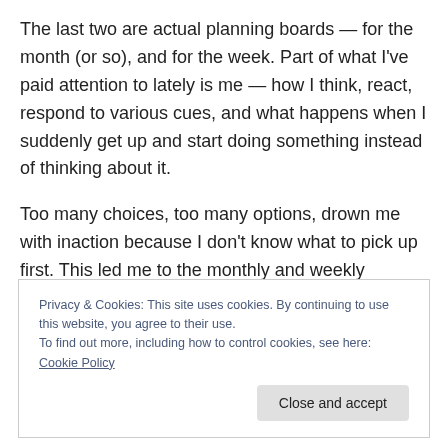The last two are actual planning boards — for the month (or so), and for the week. Part of what I've paid attention to lately is me — how I think, react, respond to various cues, and what happens when I suddenly get up and start doing something instead of thinking about it.
Too many choices, too many options, drown me with inaction because I don't know what to pick up first. This led me to the monthly and weekly planning boards. I've finished several projects that surprised me.
I started realiting...
Privacy & Cookies: This site uses cookies. By continuing to use this website, you agree to their use.
To find out more, including how to control cookies, see here: Cookie Policy